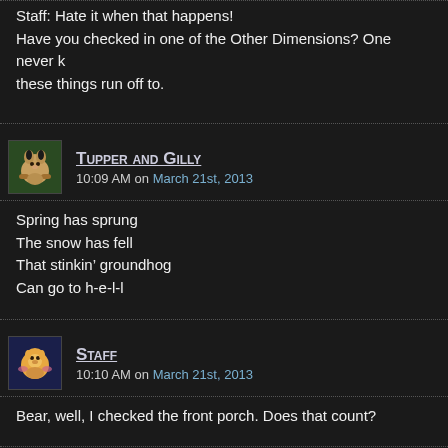Staff: Hate it when that happens!
Have you checked in one of the Other Dimensions? One never k these things run off to.
Tupper and Gilly
10:09 AM on March 21st, 2013
Spring has sprung
The snow has fell
That stinkin’ groundhog
Can go to h-e-l-l
Staff
10:10 AM on March 21st, 2013
Bear, well, I checked the front porch. Does that count?
Staff